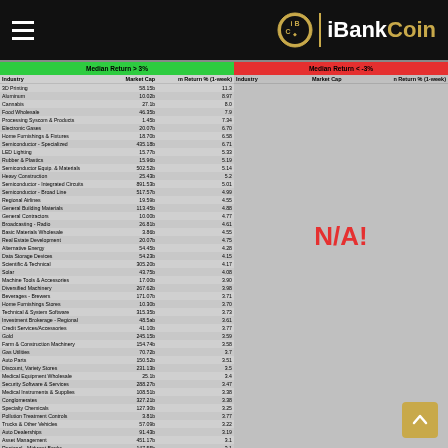iBankCoin
| Industry | Market Cap | m Return % (1-week) |
| --- | --- | --- |
| 3D Printing | 58.15b | 11.3 |
| Aluminum | 10.02b | 8.97 |
| Cannabis | 27.1b | 8.0 |
| Food Wholesale | 46.35b | 7.9 |
| Processing Syscom & Products | 1.45b | 7.34 |
| Electronic Gases | 20.07b | 6.70 |
| Home Furnishings & Fixtures | 18.70b | 6.58 |
| Semiconductor - Specialized | 435.18b | 6.71 |
| LED Lighting | 15.77b | 5.33 |
| Rubber & Plastics | 15.96b | 5.19 |
| Semiconductor Equipment & Materials | 502.52b | 5.14 |
| Heavy Construction | 25.43b | 5.2 |
| Semiconductor - Integrated Circuits | 891.53b | 5.01 |
| Semiconductor - Broad Line | 517.57b | 4.99 |
| Regional Airlines | 19.59b | 4.95 |
| General Building Materials | 113.45b | 4.88 |
| General Contractors | 10.00b | 4.77 |
| Broadcasting - Radio | 26.81b | 4.61 |
| Basic Materials Wholesale | 3.86b | 4.55 |
| Real Estate Development | 20.07b | 4.75 |
| Alternative Energy | 54.45b | 4.28 |
| Data Storage Devices | 54.23b | 4.15 |
| Scientific & Technical | 305.20b | 4.17 |
| Solar | 43.75b | 4.08 |
| Machine Tools & Accessories | 17.00b | 3.90 |
| Diversified Machinery | 267.62b | 3.98 |
| Beverages - Brewers | 171.07b | 3.71 |
| Home Furnishings Stores | 10.30b | 3.70 |
| Technical & System Software | 315.35b | 3.73 |
| Investment Brokerage - Regional | 48.5ab | 3.61 |
| Credit Services/Accessories | 41.10b | 3.77 |
| Gold | 245.15b | 3.59 |
| Farm & Construction Machinery | 154.74b | 3.58 |
| Gas Utilities | 70.72b | 3.7 |
| Auto Parts | 150.52b | 3.51 |
| Discount, Variety Stores | 231.13b | 3.5 |
| Medical Equipment Wholesale | 25.1b | 3.4 |
| Security Software & Services | 288.27b | 3.47 |
| Medical Instruments & Supplies | 108.51b | 3.38 |
| Conglomerates | 327.21b | 3.38 |
| Specialty Chemicals | 127.30b | 3.25 |
| Pollution Treatment Controls | 3.81b | 3.77 |
| Trucks & Other Vehicles | 57.09b | 3.22 |
| Auto Dealerships | 91.43b | 3.19 |
| Asset Management | 451.17b | 3.1 |
| Regional - Midwest Banks | 147.55b | 3.1 |
| Communication Equipment | 205.30b | 3.08 |
| Regional - Mid-Atlantic Banks | 134.10b | 3.17 |
| Multimedia & Graphics Software | 270.55b | 3.23 |
N/A!
| Industry | Market Cap | n Return % (1-week) |
| --- | --- | --- |